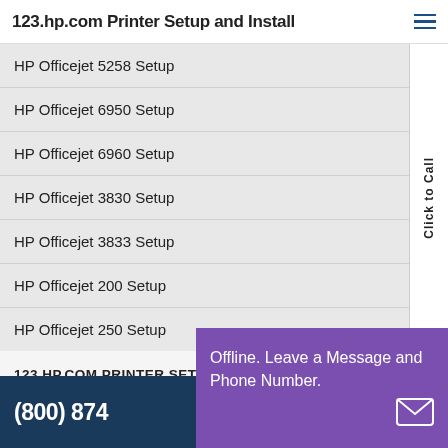123.hp.com Printer Setup and Install
HP Officejet 5258 Setup
HP Officejet 6950 Setup
HP Officejet 6960 Setup
HP Officejet 3830 Setup
HP Officejet 3833 Setup
HP Officejet 200 Setup
HP Officejet 250 Setup
123.HP.COM PRINTER SETUP
HP Officejet Pro 6968 Setup
HP Officejet Pro 6978 Setup
(800) 874
Offline. Leave a Message and Phone Number.